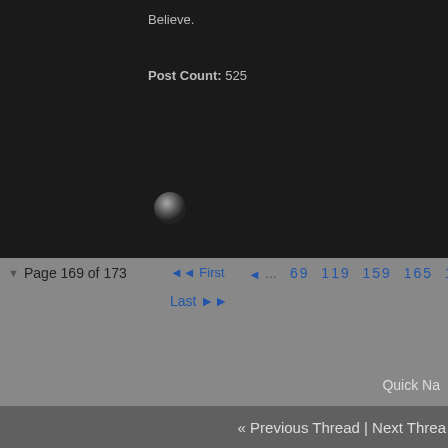Believe.
Post Count: 525
Page 169 of 173  First  ...  69  119  159  165  166  167  Last
Quick Na
« Previous Thread | Next Threa
Thread Information
There are currently 1 users browsing this thread. (0 memb
All times are GMT -5. The time now is
Powered by vBulletin® Version 4.2.5
Copyright © 2022 vBulletin Solutions Inc. All rights
Feedback Buttons provided by Advanced Post Thanks / Like (Pro) - vBulletin Mods & Addo
Live threads provided by AJAX Threads v1.1.1 (Pro)- vBulletin Mods & Addons Cop
Copyright ©2003-2020 SpursTalk.com
Digital Point modules: Sphinx-based sear